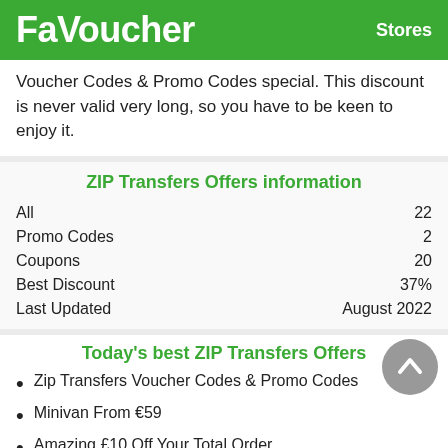FaVoucher   Stores
Voucher Codes & Promo Codes special. This discount is never valid very long, so you have to be keen to enjoy it.
ZIP Transfers Offers information
|  |  |
| --- | --- |
| All | 22 |
| Promo Codes | 2 |
| Coupons | 20 |
| Best Discount | 37% |
| Last Updated | August 2022 |
Today's best ZIP Transfers Offers
Zip Transfers Voucher Codes & Promo Codes
Minivan From €59
Amazing £10 Off Your Total Order